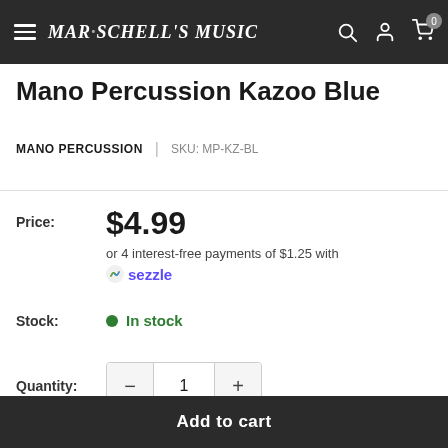Mar-Schell's Music
Mano Percussion Kazoo Blue
MANO PERCUSSION | SKU: MP-KZ-BL
Price: $4.99 or 4 interest-free payments of $1.25 with Sezzle
Stock: In stock
Quantity: 1
Add to cart